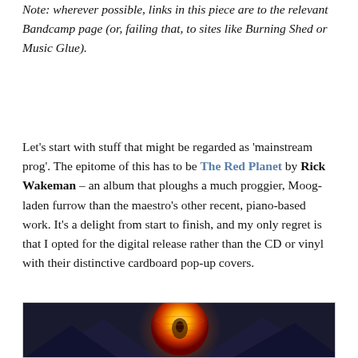Note: wherever possible, links in this piece are to the relevant Bandcamp page (or, failing that, to sites like Burning Shed or Music Glue).
Let's start with stuff that might be regarded as 'mainstream prog'. The epitome of this has to be The Red Planet by Rick Wakeman – an album that ploughs a much proggier, Moog-laden furrow than the maestro's other recent, piano-based work. It's a delight from start to finish, and my only regret is that I opted for the digital release rather than the CD or vinyl with their distinctive cardboard pop-up covers.
[Figure (photo): Album artwork for The Red Planet by Rick Wakeman, showing a stylized planet or sphere with dark triangular shapes against it, in red, orange and gold tones.]